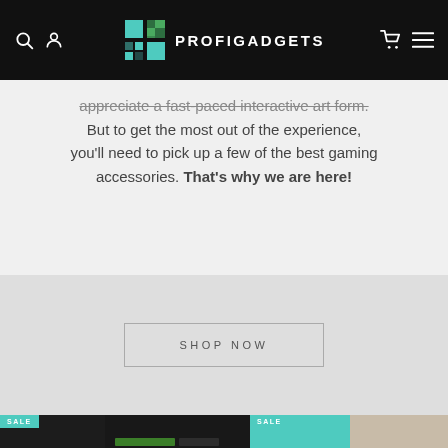[Figure (screenshot): Navigation bar of the ProfiGadgets website with black background, search icon, user icon on left, logo with pixel-art squares and PROFIGADGETS text in center, cart icon and hamburger menu on right]
appreciate a fast-paced interactive art form. But to get the most out of the experience, you'll need to pick up a few of the best gaming accessories. That's why we are here!
[Figure (screenshot): Gray section with SHOP NOW button in a rectangular border with letter-spacing]
[Figure (screenshot): Product strip at bottom showing SALE badge items: dark gaming keyboard product on left, teal SALE badge section, and a lighter product on right with SALE badge]